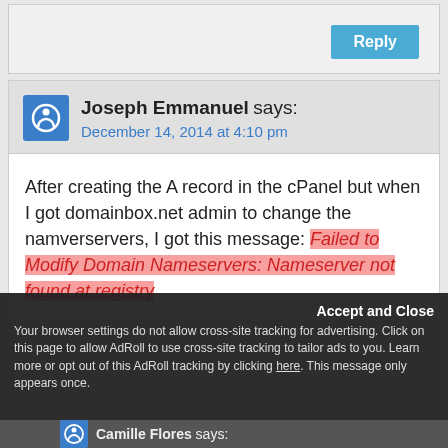Reply
Joseph Emmanuel says:
December 14, 2014 at 4:10 pm
After creating the A record in the cPanel but when I got domainbox.net admin to change the namverservers, I got this message: Failed to Modify Domain Nameservers: Nameserver not found at registry
Accept and Close
Your browser settings do not allow cross-site tracking for advertising. Click on this page to allow AdRoll to use cross-site tracking to tailor ads to you. Learn more or opt out of this AdRoll tracking by clicking here. This message only appears once.
Camille Flores says: